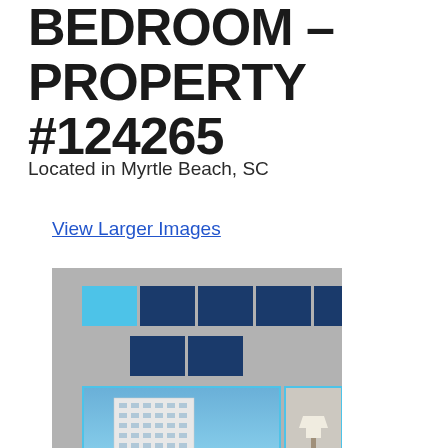BEDROOM – PROPERTY #124265
Located in Myrtle Beach, SC
View Larger Images
[Figure (photo): Property image gallery showing thumbnail navigation strip with one light blue and four dark navy thumbnails, a second row of two dark navy thumbnails, and a main photo of a tall modern condominium building against blue sky with a smaller secondary photo partially visible on the right.]